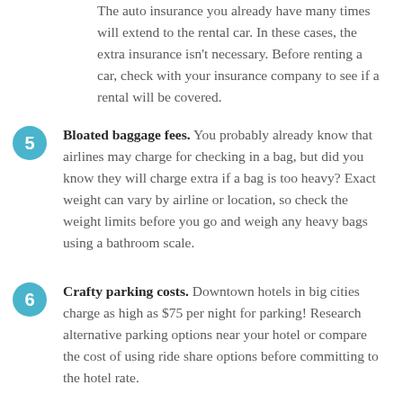The auto insurance you already have many times will extend to the rental car. In these cases, the extra insurance isn't necessary. Before renting a car, check with your insurance company to see if a rental will be covered.
5. Bloated baggage fees. You probably already know that airlines may charge for checking in a bag, but did you know they will charge extra if a bag is too heavy? Exact weight can vary by airline or location, so check the weight limits before you go and weigh any heavy bags using a bathroom scale.
6. Crafty parking costs. Downtown hotels in big cities charge as high as $75 per night for parking! Research alternative parking options near your hotel or compare the cost of using ride share options before committing to the hotel rate.